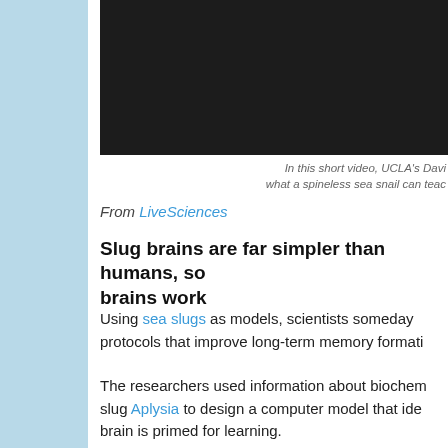[Figure (screenshot): Dark video player thumbnail, mostly black/dark grey background]
In this short video, UCLA's Davi what a spineless sea snail can teac
From LiveSciences
Slug brains are far simpler than humans, so brains work
Using sea slugs as models, scientists someday protocols that improve long-term memory formati
The researchers used information about biochem slug Aplysia to design a computer model that ide brain is primed for learning.